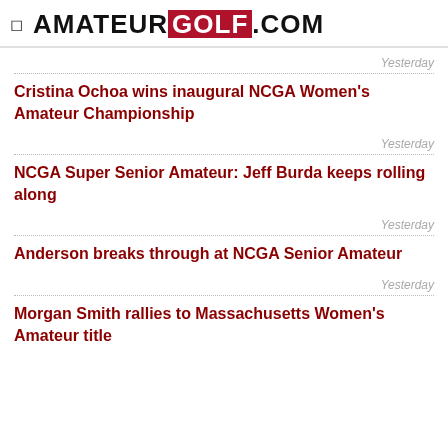AMATEUR GOLF .COM
Yesterday
Cristina Ochoa wins inaugural NCGA Women's Amateur Championship
Yesterday
NCGA Super Senior Amateur: Jeff Burda keeps rolling along
Yesterday
Anderson breaks through at NCGA Senior Amateur
Yesterday
Morgan Smith rallies to Massachusetts Women's Amateur title